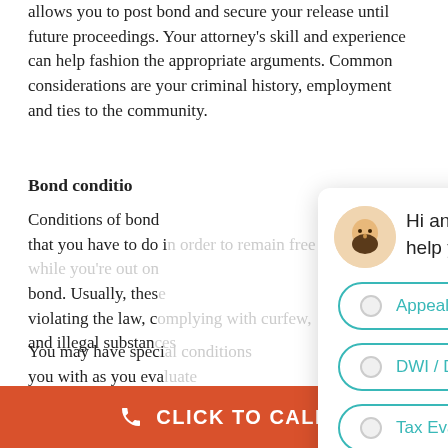allows you to post bond and secure your release until future proceedings. Your attorney's skill and experience can help fashion the appropriate arguments. Common considerations are your criminal history, employment and ties to the community.
Bond conditions
Conditions of bond are things that you have to do in order to remain free while you're out on bond. Usually, these include not violating the law, complying with curfew, and illegal substances...
You may have special conditions that you with as you evaluate... need a provision that... alcohol. It might be... allow you to get to... consideration for ou...
[Figure (screenshot): Chat widget overlay from Spodek Law Group showing greeting message and case type options: Appeal Criminal Case, DWI / DUI, Tax Evasion (Criminal), Domestic Violence]
CLICK TO CALL